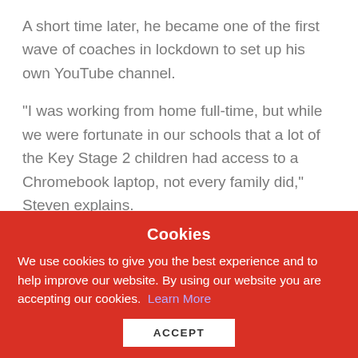A short time later, he became one of the first wave of coaches in lockdown to set up his own YouTube channel.
“I was working from home full-time, but while we were fortunate in our schools that a lot of the Key Stage 2 children had access to a Chromebook laptop, not every family did,” Steven explains.
However, most families nowadays do have access to smartphones, iPads and TVs, where they can easily
Cookies
We use cookies to give you the best experience and to help improve our website. By using our website you are accepting our cookies.  Learn More
ACCEPT